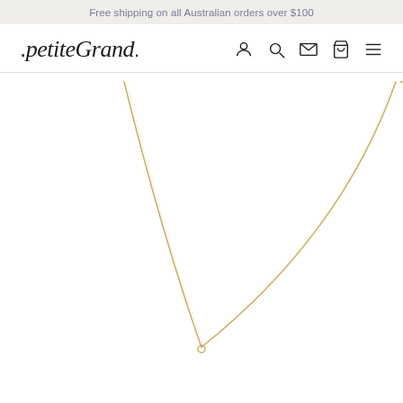Free shipping on all Australian orders over $100
[Figure (logo): .petiteGrand. brand logo with navigation icons (person, search, mail, bag, hamburger menu)]
[Figure (photo): Close-up product photo of a delicate gold chain necklace on white background, forming a V-shape drape]